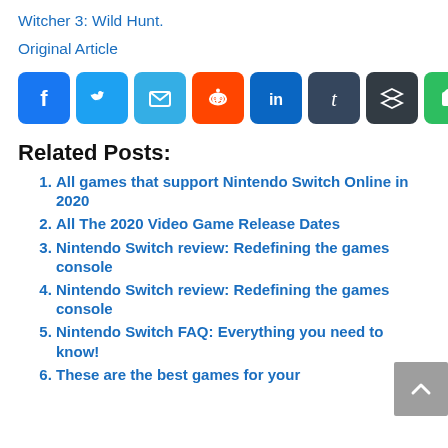Witcher 3: Wild Hunt.
Original Article
[Figure (other): Social sharing icons row: Facebook (blue), Twitter (light blue), Email (light blue), Reddit (orange), LinkedIn (blue), Tumblr (dark), Buffer (dark), Evernote (green), Share (blue)]
Related Posts:
All games that support Nintendo Switch Online in 2020
All The 2020 Video Game Release Dates
Nintendo Switch review: Redefining the games console
Nintendo Switch review: Redefining the games console
Nintendo Switch FAQ: Everything you need to know!
These are the best games for your